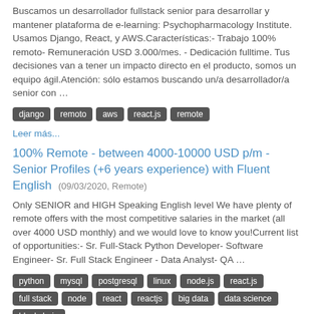Buscamos un desarrollador fullstack senior para desarrollar y mantener plataforma de e-learning: Psychopharmacology Institute. Usamos Django, React, y AWS.Características:- Trabajo 100% remoto- Remuneración USD 3.000/mes. - Dedicación fulltime. Tus decisiones van a tener un impacto directo en el producto, somos un equipo ágil.Atención: sólo estamos buscando un/a desarrollador/a senior con …
django
remoto
aws
react.js
remote
Leer más...
100% Remote - between 4000-10000 USD p/m - Senior Profiles (+6 years experience) with Fluent English (09/03/2020, Remote)
Only SENIOR and HIGH Speaking English level We have plenty of remote offers with the most competitive salaries in the market (all over 4000 USD monthly) and we would love to know you!Current list of opportunities:- Sr. Full-Stack Python Developer- Software Engineer- Sr. Full Stack Engineer - Data Analyst- QA …
python
mysql
postgresql
linux
node.js
react.js
full stack
node
react
reactjs
big data
data science
blockchain